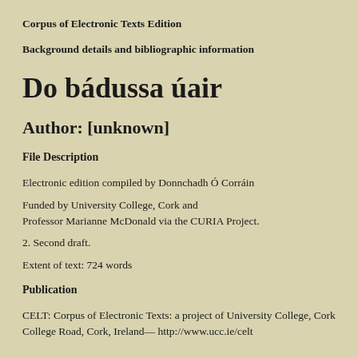Corpus of Electronic Texts Edition
Background details and bibliographic information
Do bádussa úair
Author: [unknown]
File Description
Electronic edition compiled by Donnchadh Ó Corráin
Funded by University College, Cork and Professor Marianne McDonald via the CURIA Project.
2. Second draft.
Extent of text: 724 words
Publication
CELT: Corpus of Electronic Texts: a project of University College, Cork College Road, Cork, Ireland— http://www.ucc.ie/celt